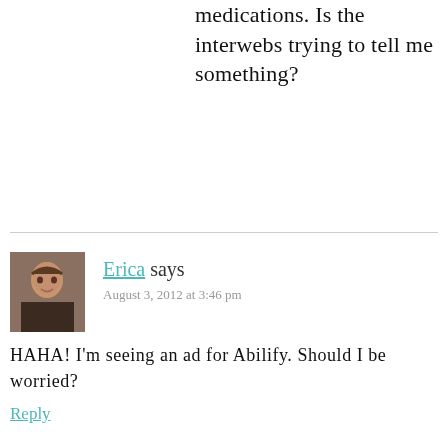medications. Is the interwebs trying to tell me something?
Erica says
August 3, 2012 at 3:46 pm
HAHA! I'm seeing an ad for Abilify. Should I be worried?
Reply